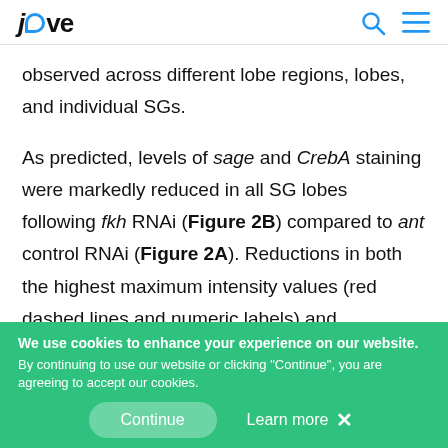jove
observed across different lobe regions, lobes, and individual SGs.
As predicted, levels of sage and CrebA staining were markedly reduced in all SG lobes following fkh RNAi (Figure 2B) compared to ant control RNAi (Figure 2A). Reductions in both the highest maximum intensity values (red dashed lines and numeric labels) and
We use cookies to enhance your experience on our website. By continuing to use our website or clicking "Continue", you are agreeing to accept our cookies.